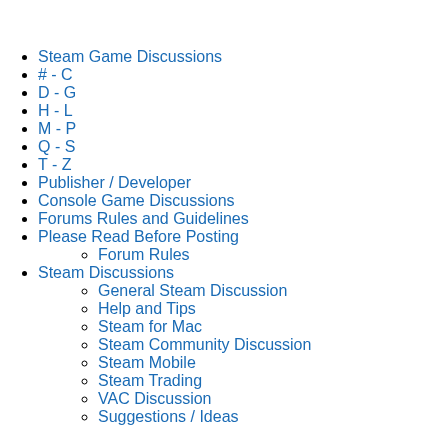Steam Game Discussions
# - C
D - G
H - L
M - P
Q - S
T - Z
Publisher / Developer
Console Game Discussions
Forums Rules and Guidelines
Please Read Before Posting
Forum Rules
Steam Discussions
General Steam Discussion
Help and Tips
Steam for Mac
Steam Community Discussion
Steam Mobile
Steam Trading
VAC Discussion
Suggestions / Ideas